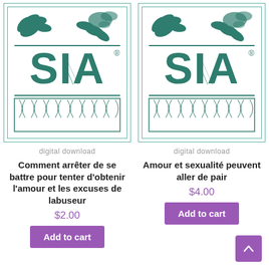[Figure (logo): SIA logo — stylized teal/green logo with large S I A letters, decorative plant/leaf motifs above and ornamental panel below, registered trademark symbol, on white background with teal border]
digital download
Comment arrêter de se battre pour tenter d'obtenir l'amour et les excuses de labuseur
$2.00
Add to cart
[Figure (logo): SIA logo — stylized teal/green logo with large S I A letters, decorative plant/leaf motifs above and ornamental panel below, registered trademark symbol, on white background with teal border]
digital download
Amour et sexualité peuvent aller de pair
$4.00
Add to cart